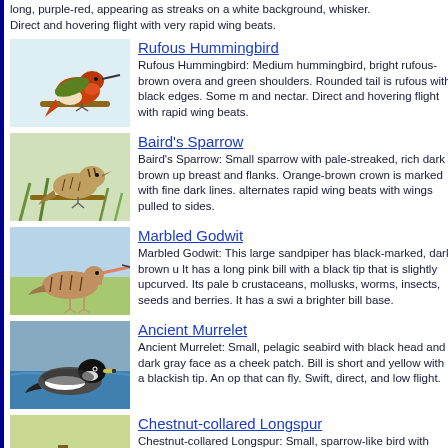long, purple-red, appearing as streaks on a white background, whisker. Direct and hovering flight with very rapid wing beats.
Rufous Hummingbird: Medium hummingbird, bright rufous-brown overall and green shoulders. Rounded tail is rufous with black edges. Some m... and nectar. Direct and hovering flight with rapid wing beats.
Baird's Sparrow: Small sparrow with pale-streaked, rich dark brown up... breast and flanks. Orange-brown crown is marked with fine dark lines. alternates rapid wing beats with wings pulled to sides.
Marbled Godwit: This large sandpiper has black-marked, dark brown u... It has a long pink bill with a black tip that is slightly upcurved. Its pale b... crustaceans, mollusks, worms, insects, seeds and berries. It has a swi... a brighter bill base.
Ancient Murrelet: Small, pelagic seabird with black head and dark gray face as a cheek patch. Bill is short and yellow with a blackish tip. An op... that can fly. Swift, direct, and low flight.
Chestnut-collared Longspur: Small, sparrow-like bird with brown-streak... chestnut on underparts, pale gray belly. Face is buff with black stripe b... throat is white. Tail is black with strongly contrasting white outer tail fea...
Long-billed Murrelet: Small seabird with dark brown upperparts and da... Underparts are lighter brown with brown barring. Straight black bill. Leg... to the water on rapid wing beats.